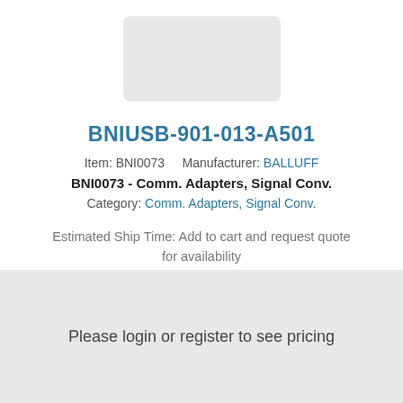[Figure (photo): Product image placeholder for BNIUSB-901-013-A501, shown as a grey rounded rectangle]
BNIUSB-901-013-A501
Item: BNI0073    Manufacturer: BALLUFF
BNI0073 - Comm. Adapters, Signal Conv.
Category: Comm. Adapters, Signal Conv.
Estimated Ship Time: Add to cart and request quote for availability
Please login or register to see pricing